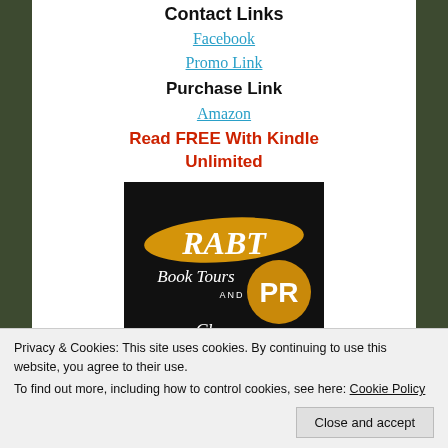Contact Links
Facebook
Promo Link
Purchase Link
Amazon
Read FREE With Kindle Unlimited
[Figure (logo): RABT Book Tours and PR logo on black background with gold brushstroke and gold circle]
Privacy & Cookies: This site uses cookies. By continuing to use this website, you agree to their use.
To find out more, including how to control cookies, see here: Cookie Policy